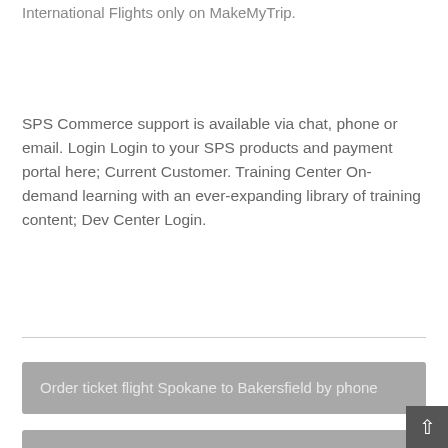International Flights only on MakeMyTrip.
SPS Commerce support is available via chat, phone or email. Login Login to your SPS products and payment portal here; Current Customer. Training Center On-demand learning with an ever-expanding library of training content; Dev Center Login.
Order ticket flight Spokane to Bakersfield by phone
Cancel flight ticket Gainesville to Charlotte by phone
Cancel flight ticket from SWF to BRW by phone
Order flight ticket from SDY to SGU by call